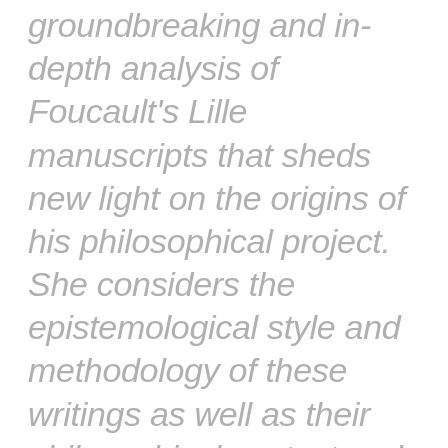groundbreaking and in-depth analysis of Foucault's Lille manuscripts that sheds new light on the origins of his philosophical project. She considers the epistemological style and methodology of these writings as well as their philosophical context and the scholarly networks in which Foucault was active, foregrounding his relationship to existential psychiatry. Young Foucault blurs the boundaries